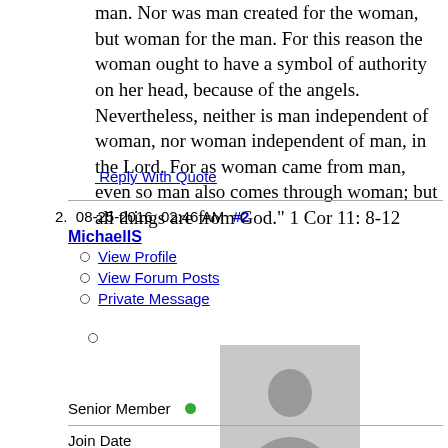man. Nor was man created for the woman, but woman for the man. For this reason the woman ought to have a symbol of authority on her head, because of the angels. Nevertheless, neither is man independent of woman, nor woman independent of man, in the Lord. For as woman came from man, even so man also comes through woman; but all things are from God.” 1 Cor 11: 8-12
Reply With Quote
2.  08-25-2016, 02:46 AM  #2
MichaelIS
View Profile
View Forum Posts
Private Message
[Figure (photo): Default user avatar placeholder showing a grey silhouette of a person]
Senior Member
Join Date